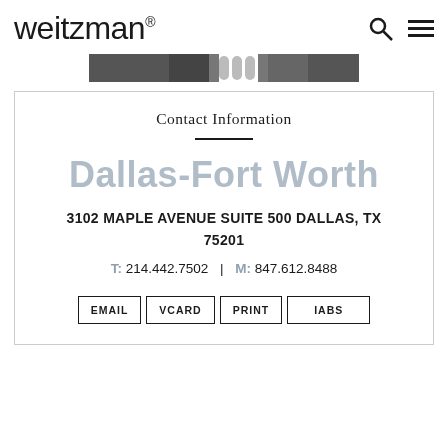weitzman®
[Figure (photo): Dark banner image with decorative pattern in center]
Contact Information
Dallas-Fort Worth
3102 MAPLE AVENUE SUITE 500 DALLAS, TX 75201
T: 214.442.7502  |  M: 847.612.8488
EMAIL  VCARD  PRINT  IABS